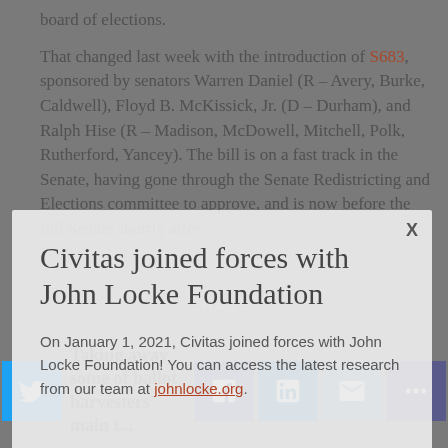board of elections.
That changed last week with the introduction of S683, sponsored by senators Warren Daniel (R – Avery, Burke, Caldwell), Floyd B. McKissick, Jr. (D – Durham), and Ralph Hise (R – Madison, McDowell, Mitchell, Polk, Rutherford, Yancey). The bill is on a fast track in the Senate, having gone through the Senate Redistricting and Elections committee to approve, and is now before the full Senate shortly after.
[Figure (screenshot): Modal dialog overlay on webpage content. Title reads 'Civitas joined forces with John Locke Foundation'. Body text: 'On January 1, 2021, Civitas joined forces with John Locke Foundation! You can access the latest research from our team at johnlocke.org.' A close (X) button appears in the top right of the modal.]
SHARE:
Taking away some of ballot harvesters' main t...
Social share icons: Twitter, Facebook, LinkedIn, Email, More